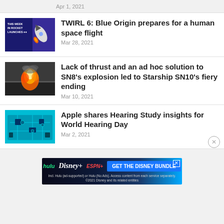Apr 1, 2021
TWIRL 6: Blue Origin prepares for a human space flight
Mar 28, 2021
Lack of thrust and an ad hoc solution to SN8's explosion led to Starship SN10's fiery ending
Mar 10, 2021
Apple shares Hearing Study insights for World Hearing Day
Mar 2, 2021
[Figure (other): Advertisement banner for Disney Bundle featuring Hulu, Disney+, ESPN+ logos with blue background and 'GET THE DISNEY BUNDLE' call-to-action]